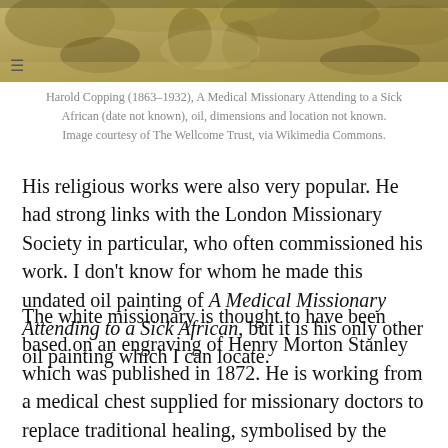[Figure (photo): Partial view of a painting showing a figure and foliage in yellowish-brown tones, likely Harold Copping's 'A Medical Missionary Attending to a Sick African']
Harold Copping (1863–1932), A Medical Missionary Attending to a Sick African (date not known), oil, dimensions and location not known. Image courtesy of The Wellcome Trust, via Wikimedia Commons.
His religious works were also very popular. He had strong links with the London Missionary Society in particular, who often commissioned his work. I don't know for whom he made this undated oil painting of A Medical Missionary Attending to a Sick African, but it is his only other oil painting which I can locate.
The white missionary is thought to have been based on an engraving of Henry Morton Stanley which was published in 1872. He is working from a medical chest supplied for missionary doctors to replace traditional healing, symbolised by the discarded animal horn in the foreground. Behind him is the vision of Christ.